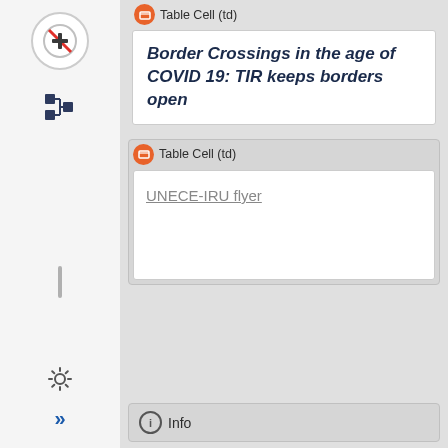[Figure (screenshot): Left sidebar with navigation icons: no-entry/forbidden icon in circle, tree/hierarchy icon, vertical divider bar, gear settings icon, double-arrow icon]
Table Cell (td)
Border Crossings in the age of COVID 19: TIR keeps borders open
Table Cell (td)
UNECE-IRU flyer
Info